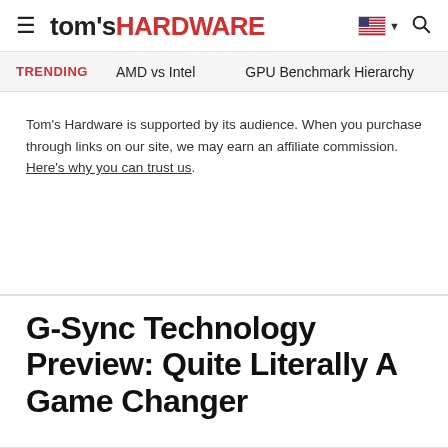tom's HARDWARE
TRENDING   AMD vs Intel   GPU Benchmark Hierarchy
Tom's Hardware is supported by its audience. When you purchase through links on our site, we may earn an affiliate commission. Here's why you can trust us.
G-Sync Technology Preview: Quite Literally A Game Changer